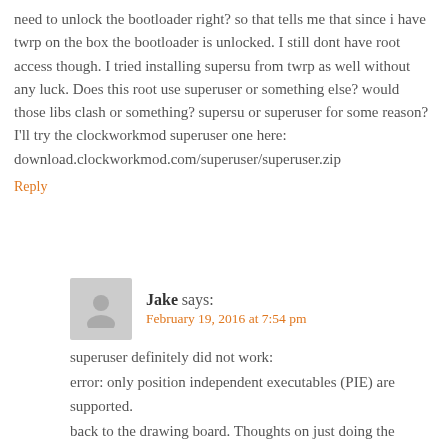need to unlock the bootloader right? so that tells me that since i have twrp on the box the bootloader is unlocked. I still dont have root access though. I tried installing supersu from twrp as well without any luck. Does this root use superuser or something else? would those libs clash or something? supersu or superuser for some reason? I'll try the clockworkmod superuser one here: download.clockworkmod.com/superuser/superuser.zip
Reply
Jake says:
February 19, 2016 at 7:54 pm
superuser definitely did not work:
error: only position independent executables (PIE) are supported.
back to the drawing board. Thoughts on just doing the entire thing over again or is it a waste of time to run the installer again and do the entire tutorial all over?
Reply